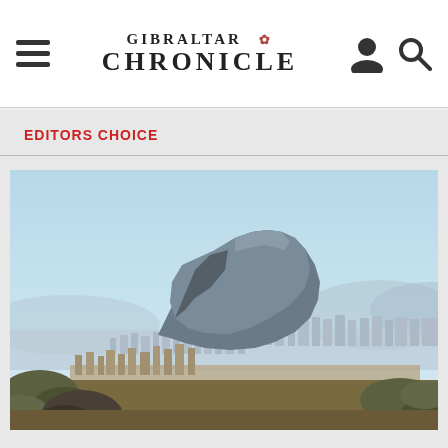GIBRALTAR CHRONICLE
EDITORS CHOICE
[Figure (photo): Aerial panoramic view of the Rock of Gibraltar rising prominently above a cityscape, with a clear blue sky and hazy mountains in the background, photographed from a hillside with vegetation in the foreground.]